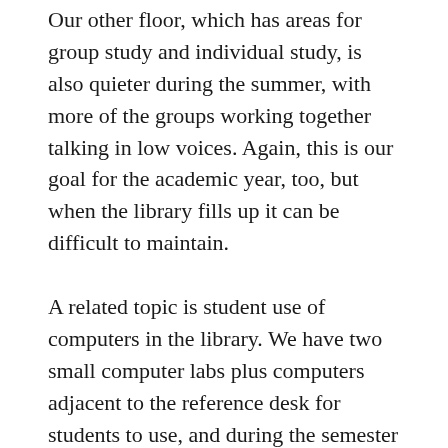Our other floor, which has areas for group study and individual study, is also quieter during the summer, with more of the groups working together talking in low voices. Again, this is our goal for the academic year, too, but when the library fills up it can be difficult to maintain.
A related topic is student use of computers in the library. We have two small computer labs plus computers adjacent to the reference desk for students to use, and during the semester they are nearly always occupied. One challenge is that some students are clearly using the computers for non-academic reasons, often watching YouTube, shopping, or playing